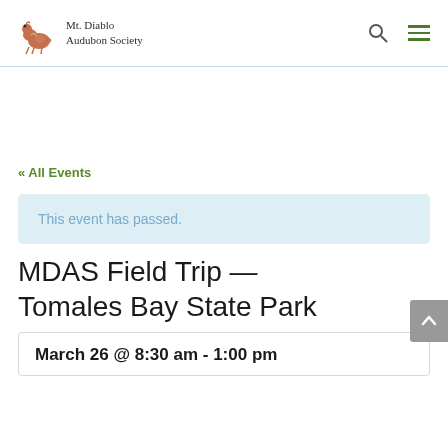Mt. Diablo Audubon Society
« All Events
This event has passed.
MDAS Field Trip — Tomales Bay State Park
March 26 @ 8:30 am - 1:00 pm